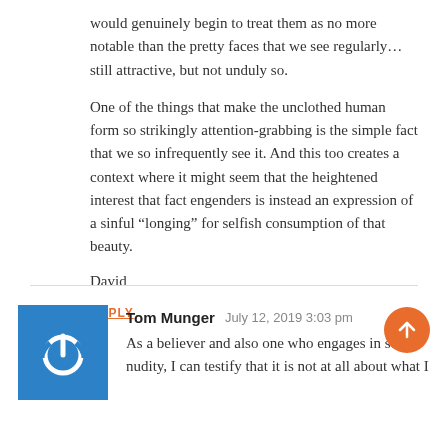would genuinely begin to treat them as no more notable than the pretty faces that we see regularly… still attractive, but not unduly so.
One of the things that make the unclothed human form so strikingly attention-grabbing is the simple fact that we so infrequently see it. And this too creates a context where it might seem that the heightened interest that fact engenders is instead an expression of a sinful “longing” for selfish consumption of that beauty.
David
REPLY
Tom Munger   July 12, 2019 3:03 pm
As a believer and also one who engages in social nudity, I can testify that it is not at all about what I see, or what I long to see, but rather, just the